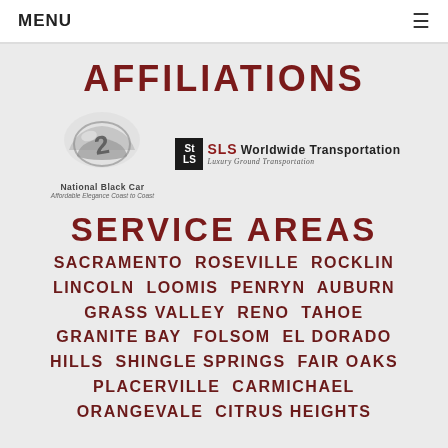MENU
AFFILIATIONS
[Figure (logo): National Black Car logo — stylized silver car emblem with text 'National Black Car' and tagline 'Affordable Elegance Coast to Coast']
[Figure (logo): SLS Worldwide Transportation — Luxury Ground Transportation logo with black badge and red/black text]
SERVICE AREAS
SACRAMENTO  ROSEVILLE  ROCKLIN  LINCOLN  LOOMIS  PENRYN  AUBURN  GRASS VALLEY  RENO  TAHOE  GRANITE BAY  FOLSOM  EL DORADO  HILLS  SHINGLE SPRINGS  FAIR OAKS  PLACERVILLE  CARMICHAEL  ORANGEVALE  CITRUS HEIGHTS